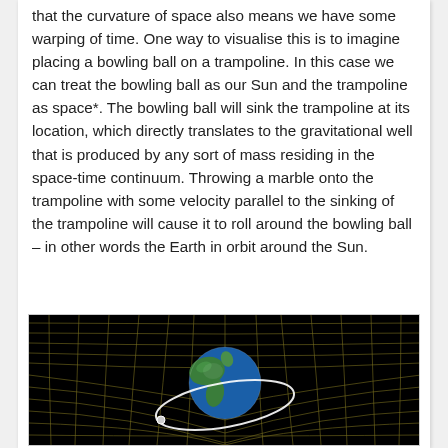that the curvature of space also means we have some warping of time. One way to visualise this is to imagine placing a bowling ball on a trampoline. In this case we can treat the bowling ball as our Sun and the trampoline as space*. The bowling ball will sink the trampoline at its location, which directly translates to the gravitational well that is produced by any sort of mass residing in the space-time continuum. Throwing a marble onto the trampoline with some velocity parallel to the sinking of the trampoline will cause it to roll around the bowling ball – in other words the Earth in orbit around the Sun.
[Figure (illustration): An illustration showing the Earth (globe showing Americas) resting on a warped grid representing spacetime curvature, with a white curved line suggesting an orbital path, set against a black background.]